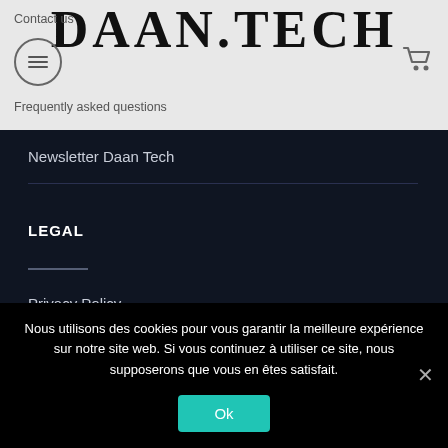Contact us | DAAN.TECH | Frequently asked questions
Newsletter Daan Tech
LEGAL
Privacy Policy
Terms & Conditions
[Figure (logo): DAAN.TECH large logo at bottom of dark section, partially visible]
Nous utilisons des cookies pour vous garantir la meilleure expérience sur notre site web. Si vous continuez à utiliser ce site, nous supposerons que vous en êtes satisfait.
Ok